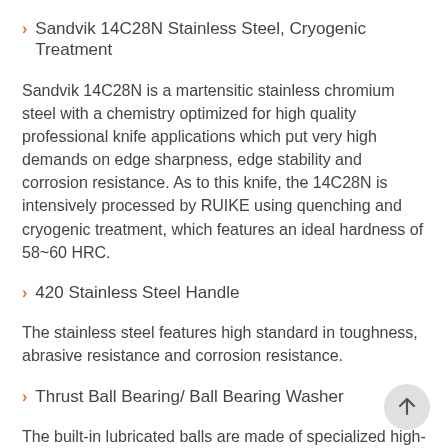Sandvik 14C28N Stainless Steel, Cryogenic Treatment
Sandvik 14C28N is a martensitic stainless chromium steel with a chemistry optimized for high quality professional knife applications which put very high demands on edge sharpness, edge stability and corrosion resistance. As to this knife, the 14C28N is intensively processed by RUIKE using quenching and cryogenic treatment, which features an ideal hardness of 58~60 HRC.
420 Stainless Steel Handle
The stainless steel features high standard in toughness, abrasive resistance and corrosion resistance.
Thrust Ball Bearing/ Ball Bearing Washer
The built-in lubricated balls are made of specialized high-carbon chromium bearing steel and are finely machined. The balls feature excellent hardness,